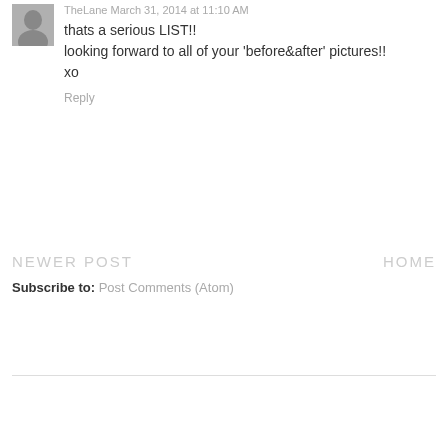[Figure (photo): Small black and white avatar photo of a person]
TheLane March 31, 2014 at 11:10 AM
thats a serious LIST!!
looking forward to all of your 'before&after' pictures!!
xo
Reply
NEWER POST
HOME
Subscribe to: Post Comments (Atom)